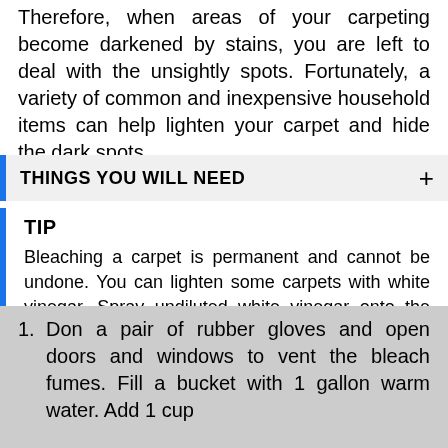Therefore, when areas of your carpeting become darkened by stains, you are left to deal with the unsightly spots. Fortunately, a variety of common and inexpensive household items can help lighten your carpet and hide the dark spots.
THINGS YOU WILL NEED
TIP
Bleaching a carpet is permanent and cannot be undone. You can lighten some carpets with white vinegar. Spray undiluted white vinegar onto the carpet and let sit until you have achieved the desired color. Sodium thiosulfate is available in products such as Bleach Stop which are designed to neutralize bleach.
Don a pair of rubber gloves and open doors and windows to vent the bleach fumes. Fill a bucket with 1 gallon warm water. Add 1 cup